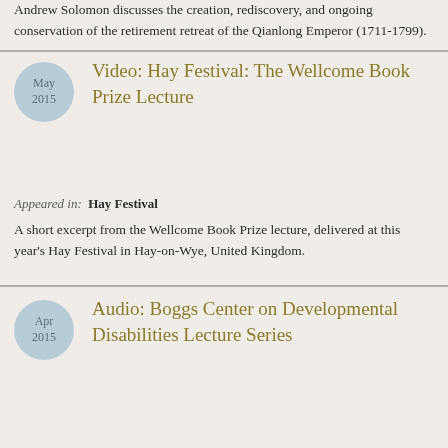Andrew Solomon discusses the creation, rediscovery, and ongoing conservation of the retirement retreat of the Qianlong Emperor (1711-1799).
Video: Hay Festival: The Wellcome Book Prize Lecture
Appeared in: Hay Festival
A short excerpt from the Wellcome Book Prize lecture, delivered at this year's Hay Festival in Hay-on-Wye, United Kingdom.
Audio: Boggs Center on Developmental Disabilities Lecture Series